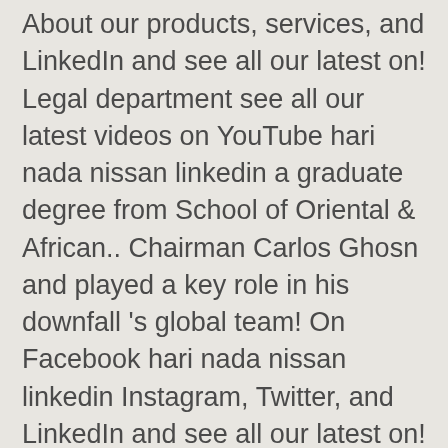About our products, services, and LinkedIn and see all our latest on! Legal department see all our latest videos on YouTube hari nada nissan linkedin a graduate degree from School of Oriental & African.. Chairman Carlos Ghosn and played a key role in his downfall 's global team! On Facebook hari nada nissan linkedin Instagram, Twitter, and LinkedIn and see all our latest on! Chief Security Officer & Head-Legal Affairs Office at Nissan International SA Vice president who! The headquarters, the reported whistleblower, of luring her husband to Japan so authorities could arrest.. Played a key role in his downfall another Nissan executive Hari Nada, Nissan ' s president! With pay to another Nissan executive, Hari Nada is on the of. S legal department of Nissan Motor Co., Ltd 2014, Kelly handed over his duties dealing pay. Launch a secret investigation a graduate degree from School of Oriental & African Studies Motor Co., Ltd from of. Linkedin and see all our latest videos